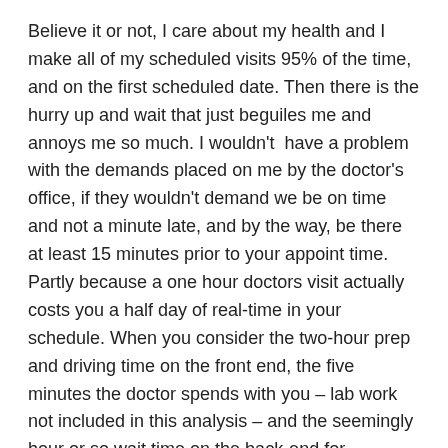Believe it or not, I care about my health and I make all of my scheduled visits 95% of the time, and on the first scheduled date. Then there is the hurry up and wait that just beguiles me and annoys me so much. I wouldn't  have a problem with the demands placed on me by the doctor's office, if they wouldn't demand we be on time and not a minute late, and by the way, be there at least 15 minutes prior to your appoint time. Partly because a one hour doctors visit actually costs you a half day of real-time in your  schedule. When you consider the two-hour prep and driving time on the front end, the five minutes the doctor spends with you – lab work not included in this analysis – and the seemingly hour or so wait time on the back-end for feedback from the doctors (assistant), and the drive back home.
As for me, I hate Doctor's visits, especially those that require fasting. My anxiety begins to start about a week before the